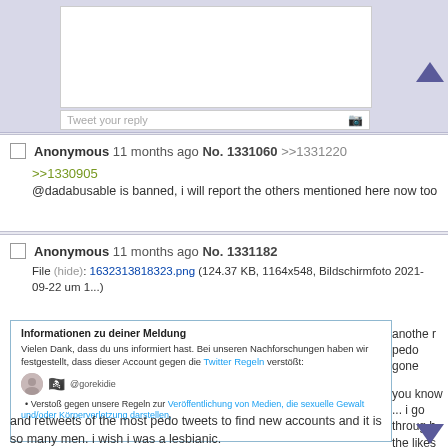[Figure (screenshot): Top portion of a forum/imageboard page showing a tweet reply input area with a white text box and 'Tweet your reply' placeholder]
Anonymous 11 months ago No. 1331060  >>1331220
>>1330905
@dadabusable is banned, i will report the others mentioned here now too
Anonymous 11 months ago No. 1331182
File (hide): 1632313818323.png (124.37 KB, 1164x548, Bildschirmfoto 2021-09-22 um 1...)
[Figure (screenshot): Screenshot of a Twitter notification in German: 'Informationen zu deiner Meldung' - Vielen Dank, dass du uns informiert hast. Bei unseren Nachforschungen haben wir festgestellt, dass dieser Account gegen die Twitter Regeln verstößt: @gorekidie - Verstoß gegen unsere Regeln zur Veröffentlichung von Medien, die sexuelle Gewalt und/oder Körperverletzung darstellen.]
another pedo gone

you know ... i go through the likes and retweets of the most pedo tweets to find new accounts and it is so many men. i wish i was a lesbianic.